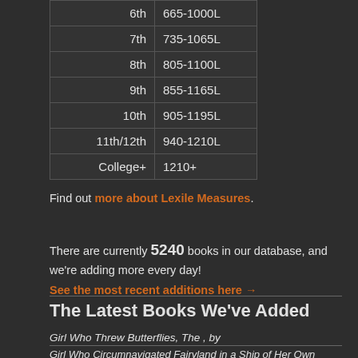| Grade | Lexile Range |
| --- | --- |
| 6th | 665-1000L |
| 7th | 735-1065L |
| 8th | 805-1100L |
| 9th | 855-1165L |
| 10th | 905-1195L |
| 11th/12th | 940-1210L |
| College+ | 1210+ |
Find out more about Lexile Measures.
There are currently 5240 books in our database, and we're adding more every day! See the most recent additions here →
The Latest Books We've Added
Girl Who Threw Butterflies, The , by
Girl Who Circumnavigated Fairyland in a Ship of Her Own Making (Fairyland #1)